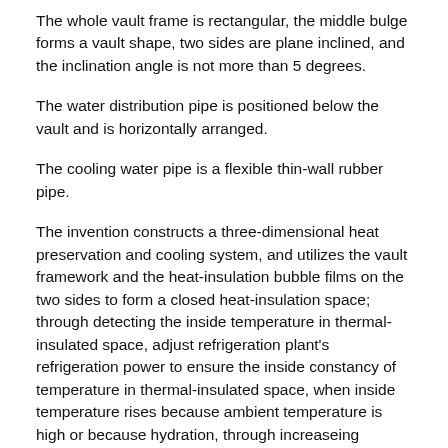The whole vault frame is rectangular, the middle bulge forms a vault shape, two sides are plane inclined, and the inclination angle is not more than 5 degrees.
The water distribution pipe is positioned below the vault and is horizontally arranged.
The cooling water pipe is a flexible thin-wall rubber pipe.
The invention constructs a three-dimensional heat preservation and cooling system, and utilizes the vault framework and the heat-insulation bubble films on the two sides to form a closed heat-insulation space; through detecting the inside temperature in thermal-insulated space, adjust refrigeration plant's refrigeration power to ensure the inside constancy of temperature in thermal-insulated space, when inside temperature rises because ambient temperature is high or because hydration, through increaseing refrigeration plant's refrigeration power, in time take away the heat, thereby maintain the low temperature state in the thermal-insulated space, promote the completion of hydration, can be applied to in tropical, subtropical environment, effectively solved the high